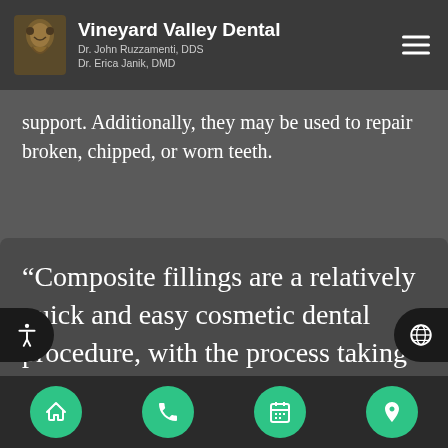Vineyard Valley Dental
Dr. John Ruzzamenti, DDS
Dr. Erica Janik, DMD
support. Additionally, they may be used to repair broken, chipped, or worn teeth.
“Composite fillings are a relatively quick and easy cosmetic dental procedure, with the process taking about less than 30 minutes.
Navigation bar: Home, Phone, Calendar, Location